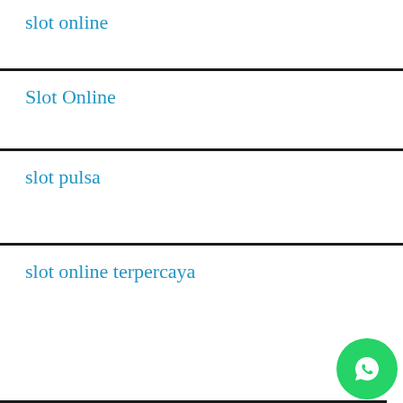slot online
Slot Online
slot pulsa
slot online terpercaya